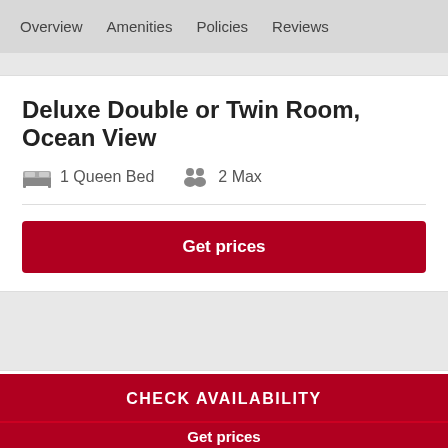Overview   Amenities   Policies   Reviews
Deluxe Double or Twin Room, Ocean View
1 Queen Bed   2 Max
Get prices
Junior Suite, Partial Sea View
1 Queen Bed   5 Max
CHECK AVAILABILITY
Get prices